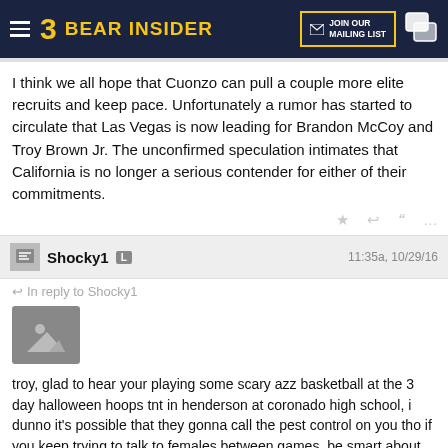BEAR INSIDER | JOIN OUR MAILING LIST
I think we all hope that Cuonzo can pull a couple more elite recruits and keep pace. Unfortunately a rumor has started to circulate that Las Vegas is now leading for Brandon McCoy and Troy Brown Jr. The unconfirmed speculation intimates that California is no longer a serious contender for either of their commitments.
Shocky1  L   11:35a, 10/29/16
In reply to Shocky1
[Figure (photo): Image placeholder thumbnail]
troy, glad to hear your playing some scary azz basketball at the 3 day halloween hoops tnt in henderson at coronado high school, i dunno it's possible that they gonna call the pest control on you tho if you keep trying to talk to females between games, be smart about that ok?
[Figure (photo): Image placeholder thumbnail]